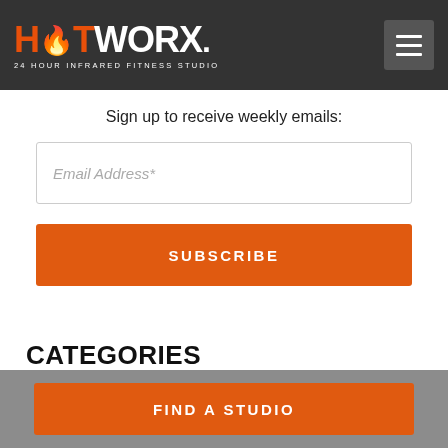HOTWORX. 24 HOUR INFRARED FITNESS STUDIO
Sign up to receive weekly emails:
Email Address*
SUBSCRIBE
CATEGORIES
FIND A STUDIO